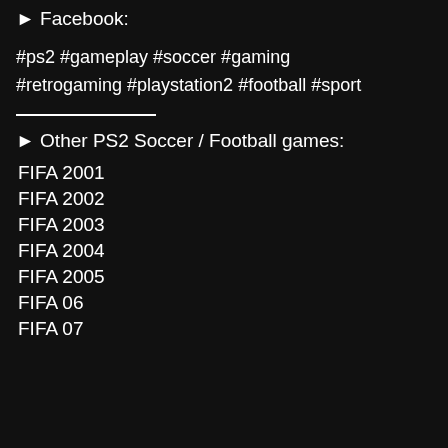► Facebook:
#ps2 #gameplay #soccer #gaming #retrogaming #playstation2 #football #sport
► Other PS2 Soccer / Football games:
FIFA 2001
FIFA 2002
FIFA 2003
FIFA 2004
FIFA 2005
FIFA 06
FIFA 07